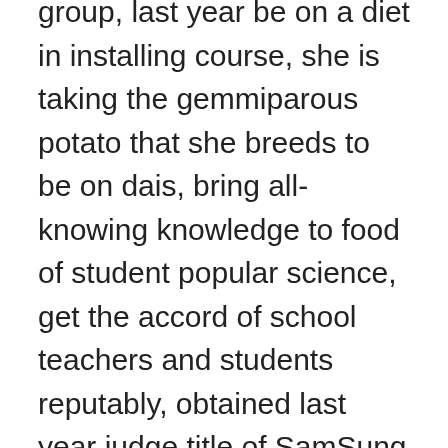group, last year be on a diet in installing course, she is taking the gemmiparous potato that she breeds to be on dais, bring all-knowing knowledge to food of student popular science, get the accord of school teachers and students reputably, obtained last year judge title of SamSung course instructor. She expresses, join feed bring group of popular science instructor, install the standard such as knowledge, schoolteaching skill to groom professionally through feeding, understand the food safety knowledge with more rigorous major from which, benefit a lot on family, life. Popular science plans safety of food of children of adolescent of Luo Hu area, participate in jointly through social all circles, pay close attention to the form of food